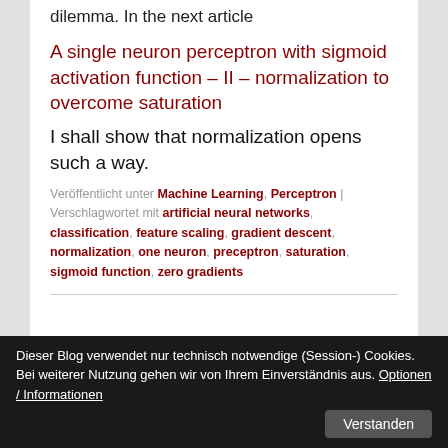dilemma. In the next article
A single neuron perceptron with sigmoid activation function – II – normalization to overcome saturation
I shall show that normalization opens such a way.
Veröffentlicht unter Machine Learning, Perceptron | Verschlagwortet mit artificial neural networks, classification, feature scaling, gradient descent, normalization, one neuron, preceptron, saturation, sigmoid function, zero gradients
Dieser Blog verwendet nur technisch notwendige (Session-) Cookies. Bei weiterer Nutzung gehen wir von Ihrem Einverständnis aus. Optionen / Informationen
MNIST dataset – IV – the